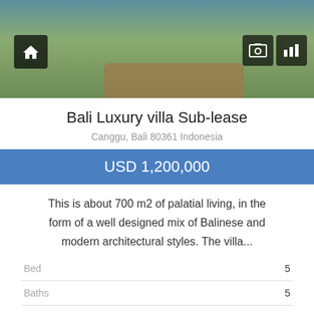[Figure (photo): Photo of a luxury villa outdoor area with lounge chairs near a pool, with navigation icons overlaid (home, gallery, chart)]
Bali Luxury villa Sub-lease
Canggu, Bali 80361 Indonesia
USD 1,200,000
This is about 700 m2 of palatial living, in the form of a well designed mix of Balinese and modern architectural styles. The villa...
|  |  |
| --- | --- |
| Bed | 5 |
| Baths | 5 |
| RRC# | BL-110 |
| m² | 700 |
| Lot Size | 4.500 (45 ARE) m² |